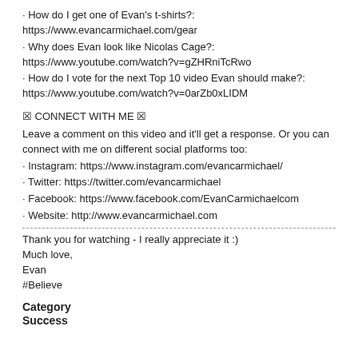• How do I get one of Evan's t-shirts?: https://www.evancarmichael.com/gear
• Why does Evan look like Nicolas Cage?: https://www.youtube.com/watch?v=gZHRniTcRwo
• How do I vote for the next Top 10 video Evan should make?: https://www.youtube.com/watch?v=0arZb0xLIDM
✉ CONNECT WITH ME ✉
Leave a comment on this video and it'll get a response. Or you can connect with me on different social platforms too:
• Instagram: https://www.instagram.com/evancarmichael/
• Twitter: https://twitter.com/evancarmichael
• Facebook: https://www.facebook.com/EvanCarmichaelcom
• Website: http://www.evancarmichael.com
Thank you for watching - I really appreciate it :)
Much love,
Evan
#Believe
Category
Success